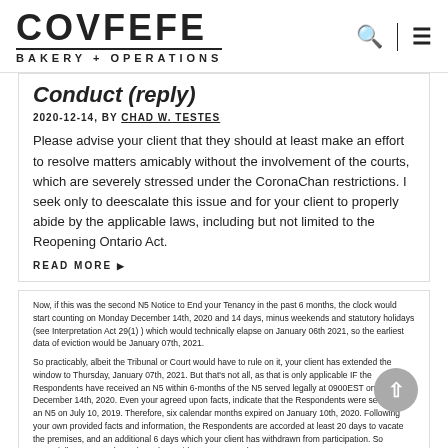COVFEFE BAKERY + OPERATIONS
Conduct (reply)
2020-12-14, BY CHAD W. TESTES
Please advise your client that they should at least make an effort to resolve matters amicably without the involvement of the courts, which are severely stressed under the CoronaChan restrictions. I seek only to deescalate this issue and for your client to properly abide by the applicable laws, including but not limited to the Reopening Ontario Act.
READ MORE
Now, if this was the second N5 Notice to End your Tenancy in the past 6 months, the clock would start counting on Monday December 14th, 2020 and 14 days, minus weekends and statutory holidays (see Interpretation Act 29(1)) which would technically elapse on January 06th 2021, so the earliest data of eviction would be January 07th, 2021.
So practicably, albeit the Tribunal or Court would have to rule on it, your client has extended the window to Thursday, January 07th, 2021. But that's not all, as that is only applicable IF the Respondents have received an N5 within 6-months of the N5 served legally at 0900EST on Monday, December 14th, 2020. Even your agreed upon facts, indicate that the Respondents were served with an N5 on July 10, 2019. Therefore, six calendar months expired on January 10th, 2020. Following your own provided facts and information, the Respondents are accorded at least 20 days to vacate the premises, and an additional 6 days which your client has withdrawn from participation. So essentially, to vacate by no later than Friday, January 15th, 2021.